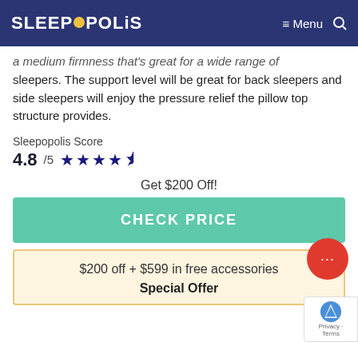SLEEPOPOLIS  ≡ Menu 🔍
a medium firmness that's great for a wide range of sleepers. The support level will be great for back sleepers and side sleepers will enjoy the pressure relief the pillow top structure provides.
Sleepopolis Score
4.8 /5 ★★★★½
Get $200 Off!
CHECK PRICE
$200 off + $599 in free accessories
Special Offer